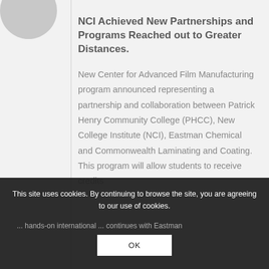NCI Achieved New Partnerships and Programs Reached out to Greater Distances.
New Center for Advanced Film Manufacturing program announced representing a partnership and collaboration between Patrick Henry Community College (PHCC), New College Institute (NCI), Eastman Chemical and Commonwealth Laminating and Coating. This program will allow students to receive credits ... hands-on internship ... continues with Eastman and Commonwealth Laminating.
This site uses cookies. By continuing to browse the site, you are agreeing to our use of cookies.